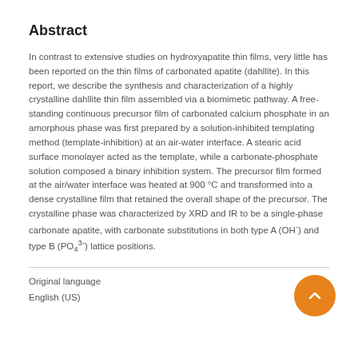Abstract
In contrast to extensive studies on hydroxyapatite thin films, very little has been reported on the thin films of carbonated apatite (dahllite). In this report, we describe the synthesis and characterization of a highly crystalline dahllite thin film assembled via a biomimetic pathway. A free-standing continuous precursor film of carbonated calcium phosphate in an amorphous phase was first prepared by a solution-inhibited templating method (template-inhibition) at an air-water interface. A stearic acid surface monolayer acted as the template, while a carbonate-phosphate solution composed a binary inhibition system. The precursor film formed at the air/water interface was heated at 900 °C and transformed into a dense crystalline film that retained the overall shape of the precursor. The crystalline phase was characterized by XRD and IR to be a single-phase carbonate apatite, with carbonate substitutions in both type A (OH⁻) and type B (PO₄³⁻) lattice positions.
Original language
English (US)